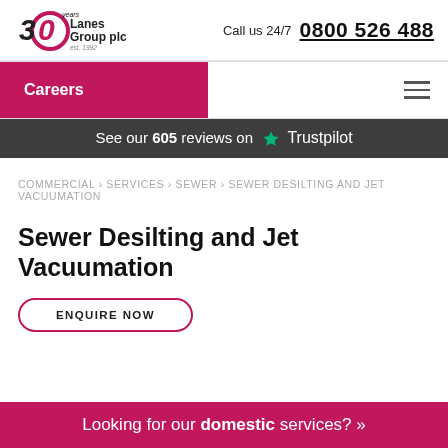[Figure (logo): Lanes Group plc 30 years logo with pink circle and stylized '30' text]
Call us 24/7  0800 526 488
Careers
See our 605 reviews on ★ Trustpilot
COMMERCIAL › SERVICES › SEWER › SEWER DESILTING AND JET VACUUMATION
Sewer Desilting and Jet Vacuumation
ENQUIRE NOW
Looking for our domestic services? »